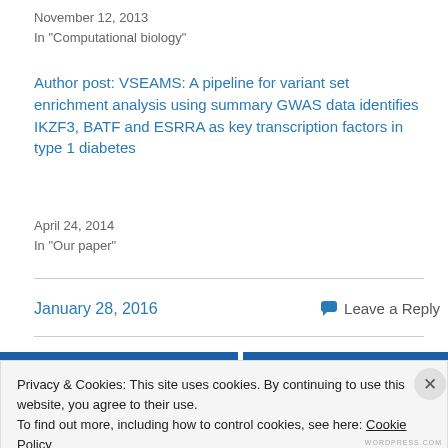November 12, 2013
In "Computational biology"
Author post: VSEAMS: A pipeline for variant set enrichment analysis using summary GWAS data identifies IKZF3, BATF and ESRRA as key transcription factors in type 1 diabetes
April 24, 2014
In "Our paper"
January 28, 2016
Leave a Reply
Privacy & Cookies: This site uses cookies. By continuing to use this website, you agree to their use.
To find out more, including how to control cookies, see here: Cookie Policy
Close and accept